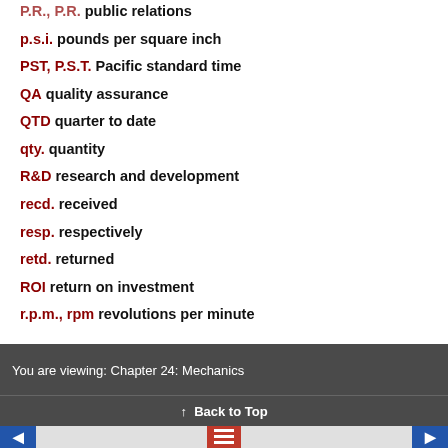p.s.i. pounds per square inch
PST, P.S.T. Pacific standard time
QA quality assurance
QTD quarter to date
qty. quantity
R&D research and development
recd. received
resp. respectively
retd. returned
ROI return on investment
r.p.m., rpm revolutions per minute
R.S.V.P., r.s.v.p. please reply
S&H shipping and handling
S&L savings and loan
You are viewing: Chapter 24: Mechanics
↑ Back to Top